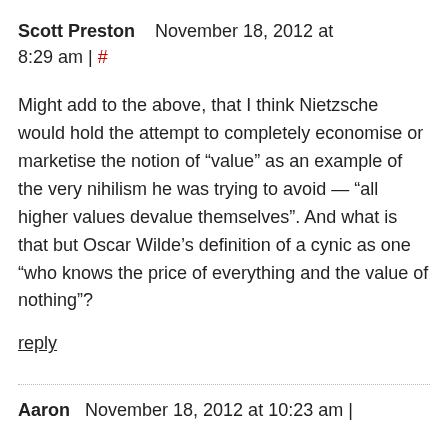Scott Preston   November 18, 2012 at 8:29 am | #
Might add to the above, that I think Nietzsche would hold the attempt to completely economise or marketise the notion of “value” as an example of the very nihilism he was trying to avoid — “all higher values devalue themselves”. And what is that but Oscar Wilde’s definition of a cynic as one “who knows the price of everything and the value of nothing”?
reply
Aaron   November 18, 2012 at 10:23 am |